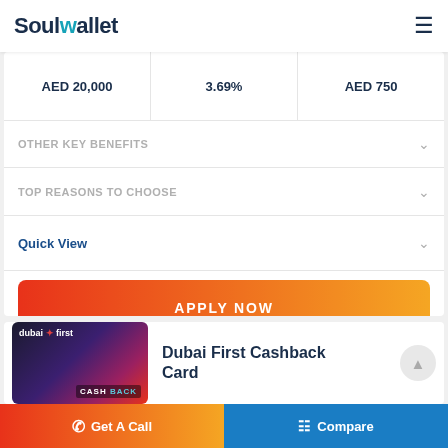SoulWallet
| Min. Salary | Interest Rate | Annual Fee |
| --- | --- | --- |
| AED 20,000 | 3.69% | AED 750 |
OTHER KEY BENEFITS
TOP REASONS TO CHOOSE
Quick View
APPLY NOW
Dubai First Cashback Card
Get A Call   Compare